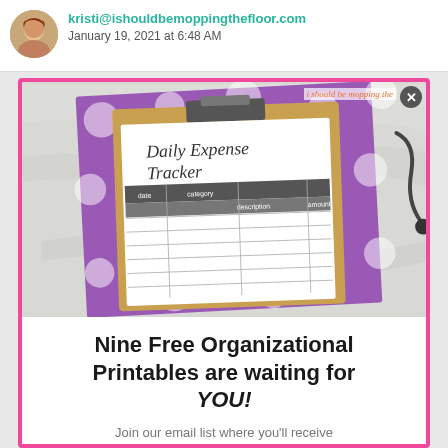kristi@ishouldbemoppingthefloor.com January 19, 2021 at 6:48 AM
[Figure (photo): Photo of a Daily Expense Tracker printable on a clipboard with purple polka dot background, shown on a marble surface. The printable has columns for date, category, description, and amount.]
Nine Free Organizational Printables are waiting for YOU!
Join our email list where you'll receive exclusive free printables + NINE free